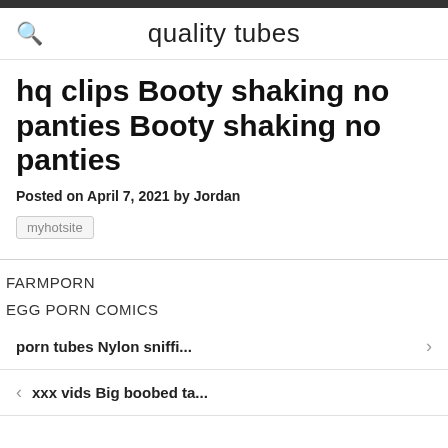quality tubes
hq clips Booty shaking no panties Booty shaking no panties
Posted on April 7, 2021 by Jordan
myhotsite
FARMPORN
EGG PORN COMICS
porn tubes Nylon sniffi...
xxx vids Big boobed ta...